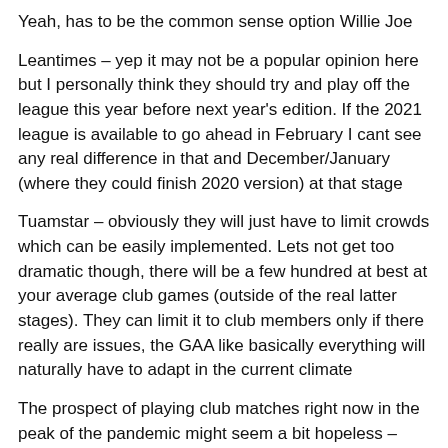Yeah, has to be the common sense option Willie Joe
Leantimes – yep it may not be a popular opinion here but I personally think they should try and play off the league this year before next year's edition. If the 2021 league is available to go ahead in February I cant see any real difference in that and December/January (where they could finish 2020 version) at that stage
Tuamstar – obviously they will just have to limit crowds which can be easily implemented. Lets not get too dramatic though, there will be a few hundred at best at your average club games (outside of the real latter stages). They can limit it to club members only if there really are issues, the GAA like basically everything will naturally have to adapt in the current climate
The prospect of playing club matches right now in the peak of the pandemic might seem a bit hopeless – sure we can't even travel beyond 2k nowadays – but things will change hugely in the coming months. If we're not in a position to play club matches in front of small crowds later this year at some stage, it is worrying – as it'll be down to the virus still being